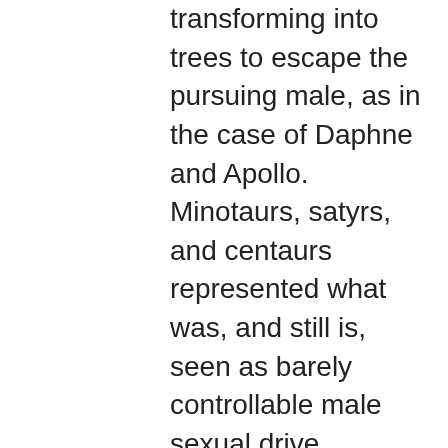transforming into trees to escape the pursuing male, as in the case of Daphne and Apollo. Minotaurs, satyrs, and centaurs represented what was, and still is, seen as barely controllable male sexual drive. Picasso depicted himself as a Minotaur almost as excuse for how awfully he treated his women. I wanted to reinterpret some of the mythology intrinsic to our western culture. The common theme of metamorphosis interested me from a Queer Theory perspective. And then at a different level I am interested in bodies, how chemicals and hormones influence our actions, how so much happens under the surface that we don't want to know